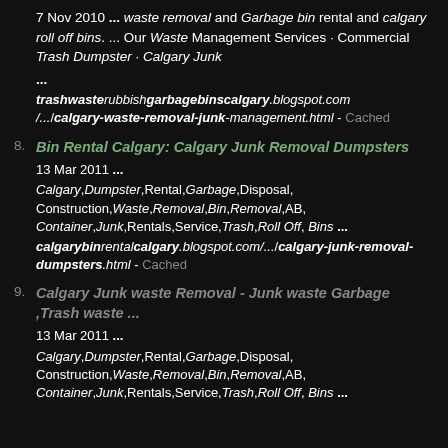7 Nov 2010 ... waste removal and Garbage bin rental and calgary roll off bins. ... Our Waste Management Services · Commercial Trash Dumpster · Calgary Junk ...
trashwasterubbishgarbagebinscalgary.blogspot.com/.../calgary-waste-removal-junk-management.html - Cached
8. Bin Rental Calgary: Calgary Junk Removal Dumpsters
13 Mar 2011 ...
Calgary,Dumpster,Rental,Garbage,Disposal,Construction,Waste,Removal,Bin,Removal,AB,Container,Junk,Rentals,Service,Trash,Roll Off, Bins ...
calgarybinrentalcalgary.blogspot.com/.../calgary-junk-removal-dumpsters.html - Cached
9. Calgary Junk waste Removal - Junk waste Garbage ,Trash waste ...
13 Mar 2011 ...
Calgary,Dumpster,Rental,Garbage,Disposal,Construction,Waste,Removal,Bin,Removal,AB,Container,Junk,Rentals,Service,Trash,Roll Off, Bins ...